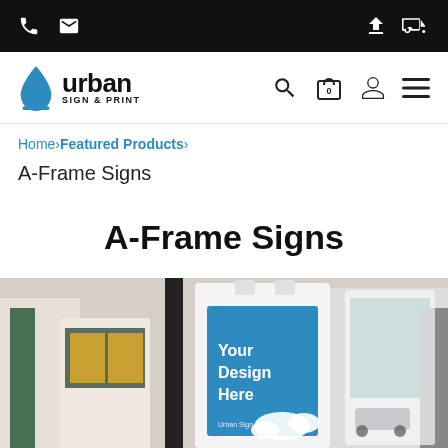Urban Sign & Print – top navigation bar with phone, email, upload, and delivery icons
[Figure (logo): Urban Sign & Print logo: blue water drop icon, bold text 'urban' and 'SIGN & PRINT' subtitle]
Home›Featured Products›
A-Frame Signs
A-Frame Signs
[Figure (photo): Product photo of an A-Frame sign with 'Your Design Here' blue panel and Urban Sign & Print branding, set on a city street]